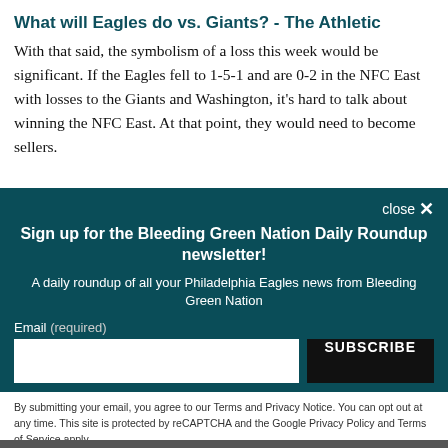What will Eagles do vs. Giants? - The Athletic
With that said, the symbolism of a loss this week would be significant. If the Eagles fell to 1-5-1 and are 0-2 in the NFC East with losses to the Giants and Washington, it's hard to talk about winning the NFC East. At that point, they would need to become sellers.
close ×
Sign up for the Bleeding Green Nation Daily Roundup newsletter!
A daily roundup of all your Philadelphia Eagles news from Bleeding Green Nation
Email (required)
SUBSCRIBE
By submitting your email, you agree to our Terms and Privacy Notice. You can opt out at any time. This site is protected by reCAPTCHA and the Google Privacy Policy and Terms of Service apply.